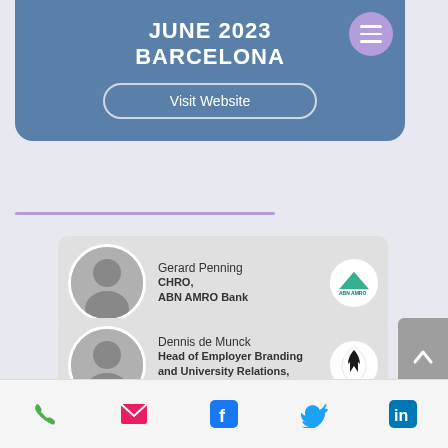JUNE 2023
BARCELONA
Visit Website
[Figure (infographic): Speaker card for Gerard Penning, CHRO at ABN AMRO Bank, with black-and-white portrait photo and ABN AMRO logo]
[Figure (infographic): Speaker card for Dennis de Munck, Head of Employer Branding and University Relations at Ferrari, with portrait photo and Ferrari logo]
[Figure (infographic): Bottom navigation bar with phone, email, Facebook, Twitter, and LinkedIn icons]